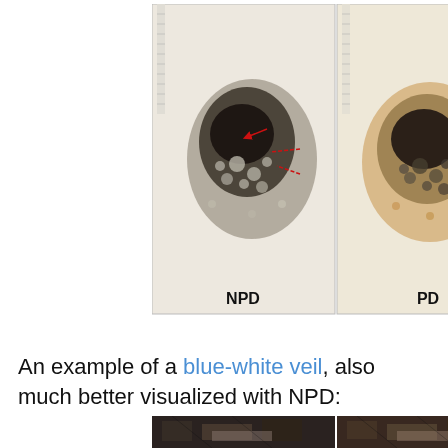[Figure (photo): Two dermoscopy images side by side: left labeled NPD (non-polarized dermoscopy) showing a dark skin lesion with red arrows pointing to features; right labeled PD (polarized dermoscopy) showing the same lesion with more orange-brown coloration. A ruler/scale is visible at the top of each image.]
An example of a blue-white veil, also much better visualized with NPD:
[Figure (photo): Two partially visible dermoscopy images at the bottom of the page showing close-up skin lesion details, cropped.]